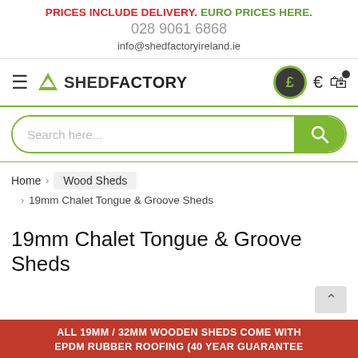PRICES INCLUDE DELIVERY. EURO PRICES HERE.
028 9061 6868
info@shedfactoryireland.ie
[Figure (logo): Shed Factory logo with green triangle/arrow icon and text SHEDFACTORY, plus currency icons (pound circle, euro, bag)]
[Figure (screenshot): Search bar with placeholder text 'Search here...' and green search button]
Home › Wood Sheds
› 19mm Chalet Tongue & Groove Sheds
19mm Chalet Tongue & Groove Sheds
ALL 19MM / 32MM WOODEN SHEDS COME WITH EPDM RUBBER ROOFING (40 YEAR GUARANTEE